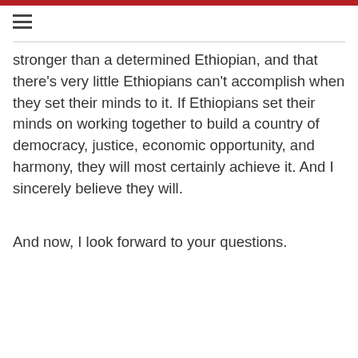≡
stronger than a determined Ethiopian, and that there's very little Ethiopians can't accomplish when they set their minds to it. If Ethiopians set their minds on working together to build a country of democracy, justice, economic opportunity, and harmony, they will most certainly achieve it. And I sincerely believe they will.
And now, I look forward to your questions.